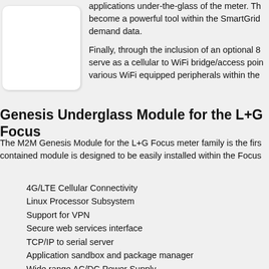[Figure (photo): White rounded rectangle placeholder image box]
applications under-the-glass of the meter. Th become a powerful tool within the SmartGrid demand data.

Finally, through the inclusion of an optional 8 serve as a cellular to WiFi bridge/access poin various WiFi equipped peripherals within the
Genesis Underglass Module for the L+G Focus
The M2M Genesis Module for the L+G Focus meter family is the firs contained module is designed to be easily installed within the Focus
4G/LTE Cellular Connectivity
Linux Processor Subsystem
Support for VPN
Secure web services interface
TCP/IP to serial server
Application sandbox and package manager
Wide range AC/DC Power Supply